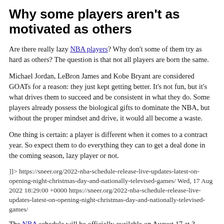Why some players aren't as motivated as others
Are there really lazy NBA players? Why don't some of them try as hard as others? The question is that not all players are born the same.
Michael Jordan, LeBron James and Kobe Bryant are considered GOATs for a reason: they just kept getting better. It's not fun, but it's what drives them to succeed and be consistent in what they do. Some players already possess the biological gifts to dominate the NBA, but without the proper mindset and drive, it would all become a waste.
One thing is certain: a player is different when it comes to a contract year. So expect them to do everything they can to get a deal done in the coming season, lazy player or not.
]]> https://sneer.org/2022-nba-schedule-release-live-updates-latest-on-opening-night-christmas-day-and-nationally-televised-games/ Wed, 17 Aug 2022 18:29:00 +0000 https://sneer.org/2022-nba-schedule-release-live-updates-latest-on-opening-night-christmas-day-and-nationally-televised-games/
The NBA schedule will be officially available on August 17 at 3...